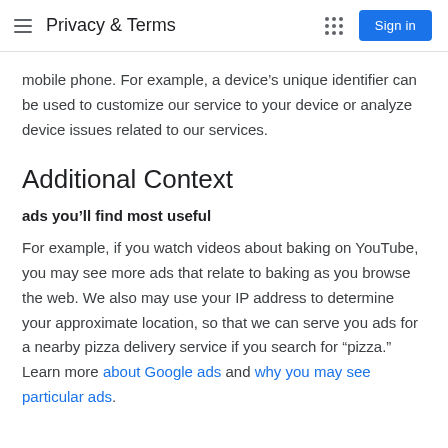Privacy & Terms
mobile phone. For example, a device's unique identifier can be used to customize our service to your device or analyze device issues related to our services.
Additional Context
ads you'll find most useful
For example, if you watch videos about baking on YouTube, you may see more ads that relate to baking as you browse the web. We also may use your IP address to determine your approximate location, so that we can serve you ads for a nearby pizza delivery service if you search for "pizza." Learn more about Google ads and why you may see particular ads.